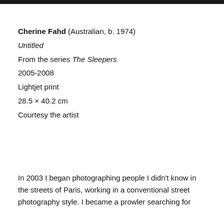Cherine Fahd (Australian, b. 1974)
Untitled
From the series The Sleepers
2005-2008
Lightjet print
28.5 × 40.2 cm
Courtesy the artist
In 2003 I began photographing people I didn't know in the streets of Paris, working in a conventional street photography style. I became a prowler searching for